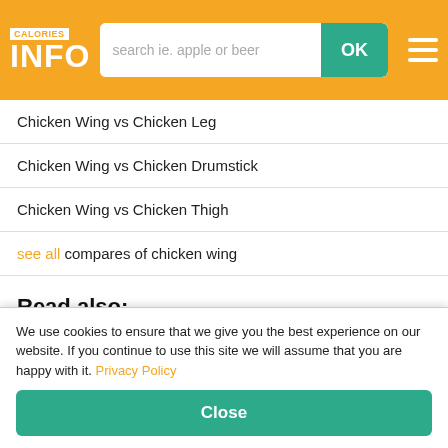CALORIES INFO — search ie. apple or beer — OK
Chicken Wing vs Chicken Leg
Chicken Wing vs Chicken Drumstick
Chicken Wing vs Chicken Thigh
see all compares of chicken wing
Read also:
Calories from Frog legs
Calories of mixed bean
Calories in Cooked spinach
Veggie pizza calories per 100g
We use cookies to ensure that we give you the best experience on our website. If you continue to use this site we will assume that you are happy with it. Privacy Policy
Close